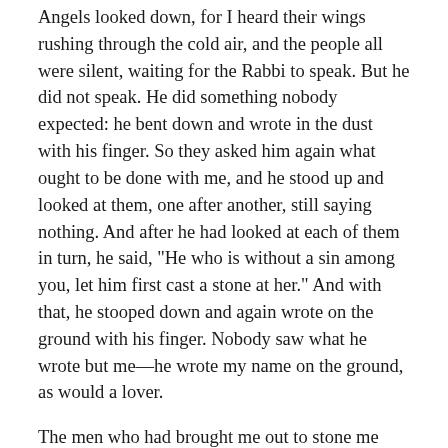Angels looked down, for I heard their wings rushing through the cold air, and the people all were silent, waiting for the Rabbi to speak. But he did not speak. He did something nobody expected: he bent down and wrote in the dust with his finger. So they asked him again what ought to be done with me, and he stood up and looked at them, one after another, still saying nothing. And after he had looked at each of them in turn, he said, "He who is without a sin among you, let him first cast a stone at her." And with that, he stooped down and again wrote on the ground with his finger. Nobody saw what he wrote but me—he wrote my name on the ground, as would a lover.
The men who had brought me out to stone me slunk away, my husband first and then the others. The Rabbi and I were left alone. He straightened up once again and looked around. "Woman, where are those who would accuse thee? Does no man condemn thee?"
"No man, Lord," said I.
"Then neither do I condemn thee. Go, and sin no more."